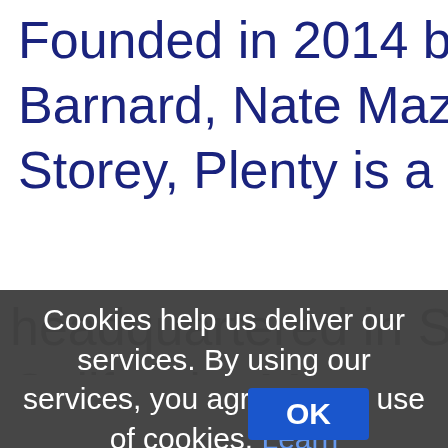Founded in 2014 by Jack Oslan, Barnard, Nate Mazonson, and N Storey, Plenty is a private compa headquartered in San Francisco, California. Mot use hydronic
Cookies help us deliver our services. By using our services, you agree to our use of cookies. Learn more
OK
At Plenty we are proud of the fre flavourful gree... of our ... wing pro...